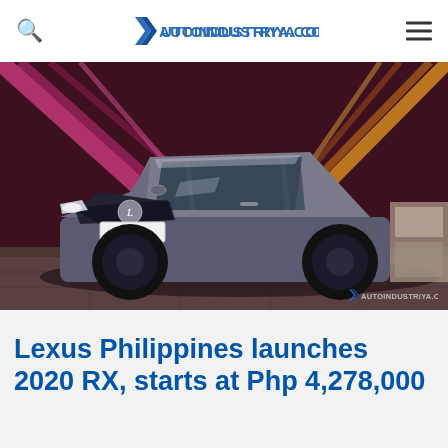AUTOINDUSTRIYA.COM
[Figure (photo): Silver Lexus RX L SUV displayed at a launch event with dramatic red and yellow laser light beams in the background. The vehicle's license plate reads 'RX L'. An AUTOINDUSTRIYA.COM watermark is visible in the bottom right of the image.]
Lexus Philippines launches 2020 RX, starts at Php 4,278,000